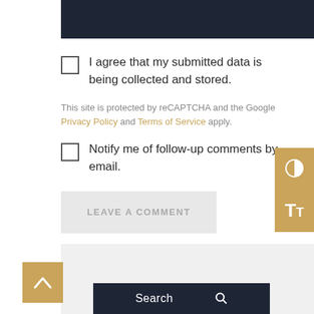[Figure (other): Dark navy header bar at top of page]
I agree that my submitted data is being collected and stored.
This site is protected by reCAPTCHA and the Google Privacy Policy and Terms of Service apply.
Notify me of follow-up comments by email.
LEAVE A COMMENT
[Figure (other): Contrast toggle button (half-circle icon) in gold/tan color on right side]
[Figure (other): Text size toggle button (TT icon) in gold/tan color on right side]
[Figure (other): Back to top button with upward caret arrow in gold/tan color at bottom left]
[Figure (other): Search bar with dark navy background at bottom of page showing 'Search' text]